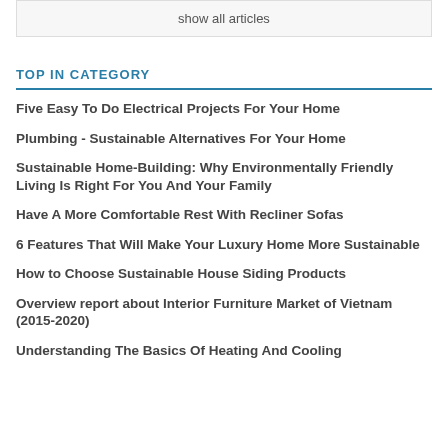show all articles
TOP IN CATEGORY
Five Easy To Do Electrical Projects For Your Home
Plumbing - Sustainable Alternatives For Your Home
Sustainable Home-Building: Why Environmentally Friendly Living Is Right For You And Your Family
Have A More Comfortable Rest With Recliner Sofas
6 Features That Will Make Your Luxury Home More Sustainable
How to Choose Sustainable House Siding Products
Overview report about Interior Furniture Market of Vietnam (2015-2020)
Understanding The Basics Of Heating And Cooling